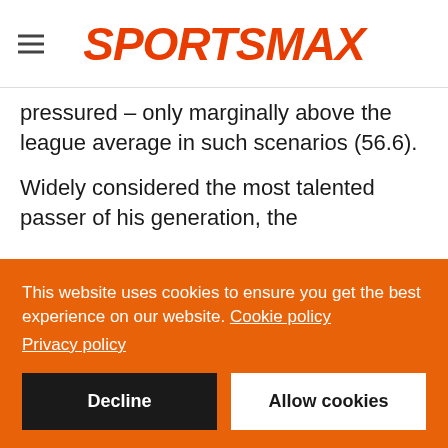SPORTSMAX
pressured – only marginally above the league average in such scenarios (56.6).
Widely considered the most talented passer of his generation, the
This website uses cookies to ensure you get the best experience on our website. Cookie policy Privacy policy
Decline
Allow cookies